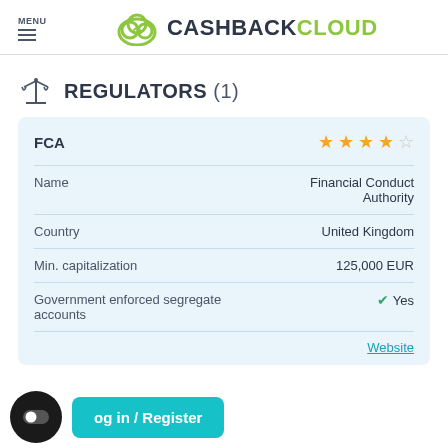MENU | CASHBACKCLOUD
REGULATORS (1)
| Field | Value |
| --- | --- |
| FCA | ★★★★☆ |
| Name | Financial Conduct Authority |
| Country | United Kingdom |
| Min. capitalization | 125,000 EUR |
| Government enforced segregate accounts | ✓ Yes |
| Website | Website |